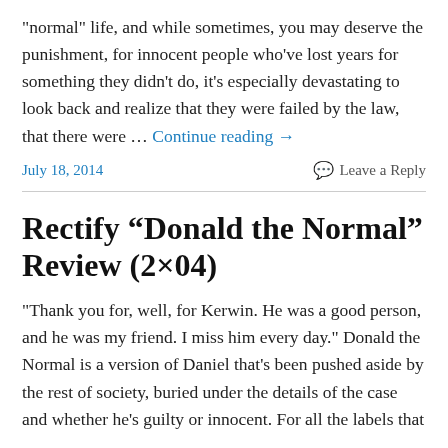"normal" life, and while sometimes, you may deserve the punishment, for innocent people who've lost years for something they didn't do, it's especially devastating to look back and realize that they were failed by the law, that there were … Continue reading →
July 18, 2014   Leave a Reply
Rectify “Donald the Normal” Review (2×04)
"Thank you for, well, for Kerwin. He was a good person, and he was my friend. I miss him every day." Donald the Normal is a version of Daniel that's been pushed aside by the rest of society, buried under the details of the case and whether he's guilty or innocent. For all the labels that …